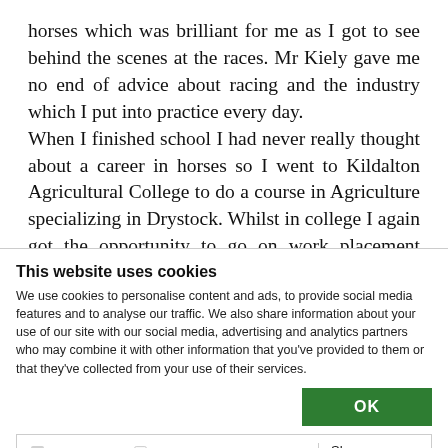horses which was brilliant for me as I got to see behind the scenes at the races. Mr Kiely gave me no end of advice about racing and the industry which I put into practice every day. When I finished school I had never really thought about a career in horses so I went to Kildalton Agricultural College to do a course in Agriculture specializing in Drystock. Whilst in college I again got the opportunity to go on work placement where I
This website uses cookies
We use cookies to personalise content and ads, to provide social media features and to analyse our traffic. We also share information about your use of our site with our social media, advertising and analytics partners who may combine it with other information that you've provided to them or that they've collected from your use of their services.